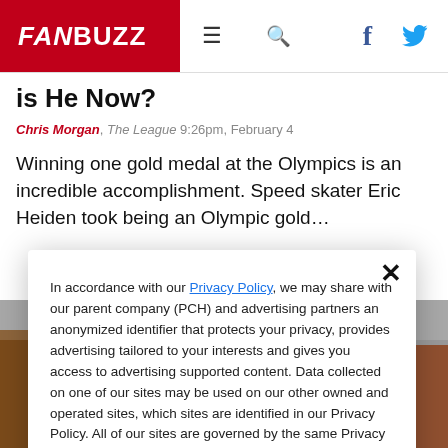FANBUZZ — navigation header with hamburger menu, search, Facebook and Twitter icons
is He Now?
Chris Morgan, The League 9:26pm, February 4
Winning one gold medal at the Olympics is an incredible accomplishment. Speed skater Eric Heiden took being an Olympic gold...
In accordance with our Privacy Policy, we may share with our parent company (PCH) and advertising partners an anonymized identifier that protects your privacy, provides advertising tailored to your interests and gives you access to advertising supported content. Data collected on one of our sites may be used on our other owned and operated sites, which sites are identified in our Privacy Policy. All of our sites are governed by the same Privacy Policy, and by proceeding to access this site, you are consenting to that Privacy Policy.
[Figure (photo): Partial bottom strip of a crowd/event photo]